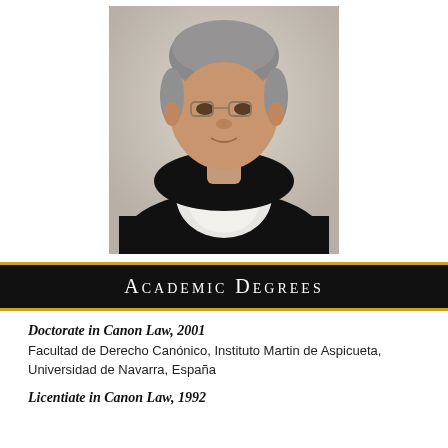[Figure (photo): Portrait photo of a middle-aged Asian man wearing glasses and dressed in a black Dominican religious habit with white collar/cowl]
Academic Degrees
Doctorate in Canon Law, 2001
Facultad de Derecho Canónico, Instituto Martin de Aspicueta, Universidad de Navarra, España
Licentiate in Canon Law, 1992